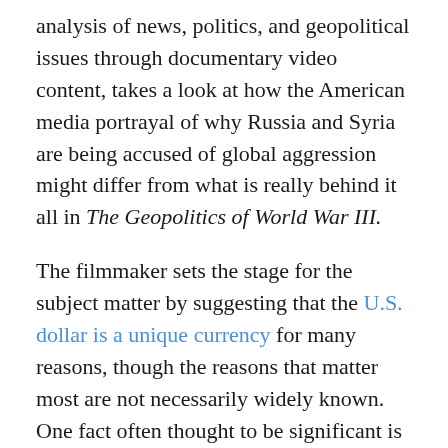analysis of news, politics, and geopolitical issues through documentary video content, takes a look at how the American media portrayal of why Russia and Syria are being accused of global aggression might differ from what is really behind it all in The Geopolitics of World War III.
The filmmaker sets the stage for the subject matter by suggesting that the U.S. dollar is a unique currency for many reasons, though the reasons that matter most are not necessarily widely known. One fact often thought to be significant is its status as the world reserve currency since 1945, but the dollar's importance is much more dependent on the fact it of it having been the primary currency by which oil has been traded in the global marketplace since 1970. Oil makes the world go round in the present political landscape, for better or worse, so this in turn makes the U.S. dollar a very important cog in the global financial machine.